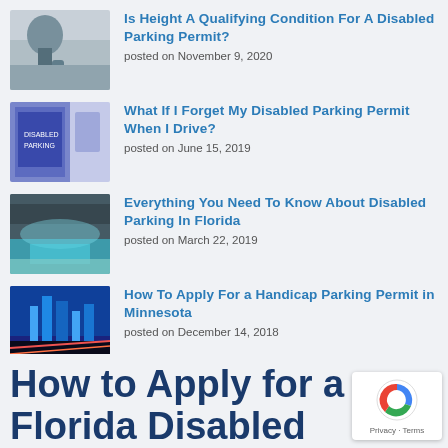[Figure (photo): Woman sitting on beach with luggage]
Is Height A Qualifying Condition For A Disabled Parking Permit?
posted on November 9, 2020
[Figure (photo): Disabled parking permit on car dashboard]
What If I Forget My Disabled Parking Permit When I Drive?
posted on June 15, 2019
[Figure (photo): Aerial view of Florida coastline]
Everything You Need To Know About Disabled Parking In Florida
posted on March 22, 2019
[Figure (photo): City skyline at night with light trails]
How To Apply For a Handicap Parking Permit in Minnesota
posted on December 14, 2018
How to Apply for a Florida Disabled